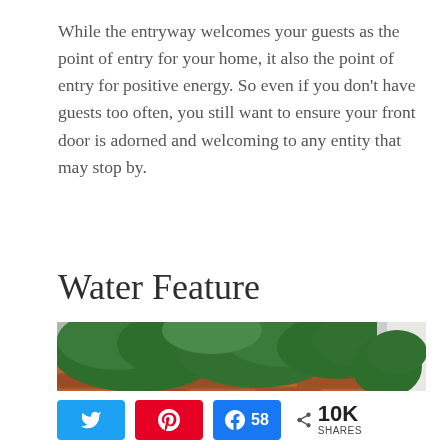While the entryway welcomes your guests as the point of entry for your home, it also the point of entry for positive energy. So even if you don’t have guests too often, you still want to ensure your front door is adorned and welcoming to any entity that may stop by.
Water Feature
[Figure (photo): Photo of a brick wall with green evergreen shrubs growing along the top of the wall and beside a white door frame.]
< 10K SHARES  58 (Facebook share count)